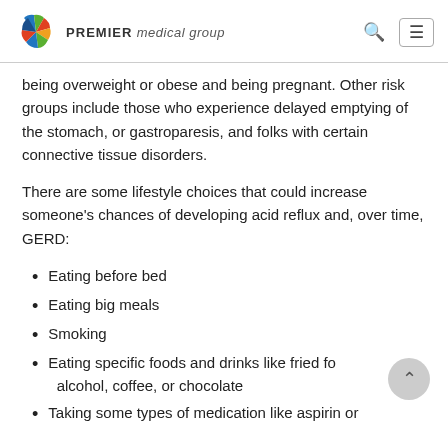PREMIER medical group
being overweight or obese and being pregnant. Other risk groups include those who experience delayed emptying of the stomach, or gastroparesis, and folks with certain connective tissue disorders.
There are some lifestyle choices that could increase someone's chances of developing acid reflux and, over time, GERD:
Eating before bed
Eating big meals
Smoking
Eating specific foods and drinks like fried fo alcohol, coffee, or chocolate
Taking some types of medication like aspirin or